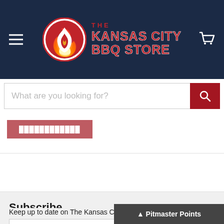The Kansas City BBQ Store
What are you looking for?
[Figure (screenshot): Red button partially visible at top of content area]
Subscribe
Keep up to date on The Kansas City BBQ Store
Email address
Sign up
Pitmaster Points